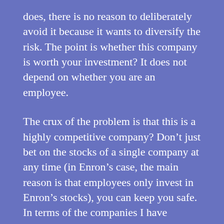does, there is no reason to deliberately avoid it because it wants to diversify the risk. The point is whether this company is worth your investment? It does not depend on whether you are an employee.
The crux of the problem is that this is a highly competitive company? Don’t just bet on the stocks of a single company at any time (in Enron’s case, the main reason is that employees only invest in Enron’s stocks), you can keep you safe. In terms of the companies I have served, I myself have also invested in the stocks of two of these companies, and both have received very good returns.